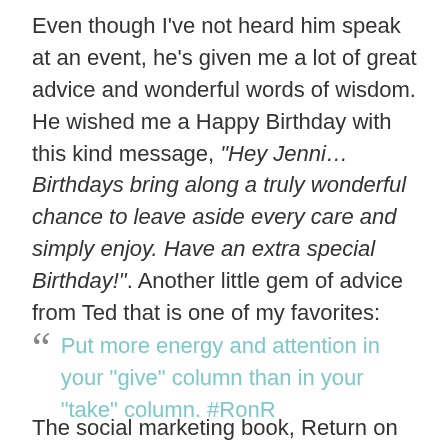Even though I've not heard him speak at an event, he's given me a lot of great advice and wonderful words of wisdom. He wished me a Happy Birthday with this kind message, “Hey Jenni…Birthdays bring along a truly wonderful chance to leave aside every care and simply enjoy. Have an extra special Birthday!”. Another little gem of advice from Ted that is one of my favorites:
“ Put more energy and attention in your “give” column than in your “take” column. #RonR
The social marketing book, Return on